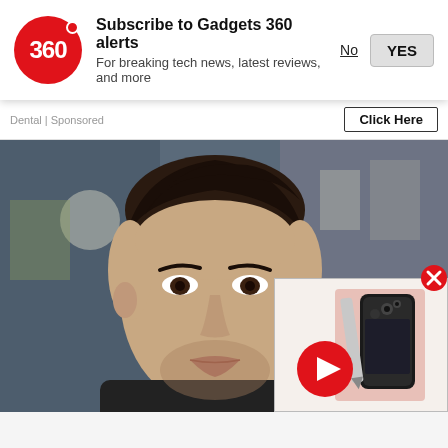[Figure (screenshot): Gadgets 360 subscription notification bar with red circular logo showing '360', title 'Subscribe to Gadgets 360 alerts', subtitle 'For breaking tech news, latest reviews, and more', and two buttons: 'No' (underlined) and 'YES' (grey button)]
Dental | Sponsored
Click Here
[Figure (photo): Close-up photo of a young man with styled dark hair looking at the camera, with a blurred background. A video player thumbnail overlay in the bottom-right corner shows a smartphone (black) with a red play button circle, partially covering the main photo.]